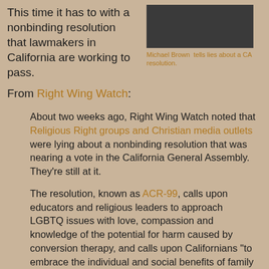This time it has to with a nonbinding resolution that lawmakers in California are working to pass.
[Figure (photo): Photo of Michael Brown, a man in dark clothing against a dark background]
Michael Brown tells lies about a CA resolution.
From Right Wing Watch:
About two weeks ago, Right Wing Watch noted that Religious Right groups and Christian media outlets were lying about a nonbinding resolution that was nearing a vote in the California General Assembly. They’re still at it.
The resolution, known as ACR-99, calls upon educators and religious leaders to approach LGBTQ issues with love, compassion and knowledge of the potential for harm caused by conversion therapy, and calls upon Californians “to embrace the individual and social benefits of family and community acceptance.” It also calls upon the people and institutions of California “to